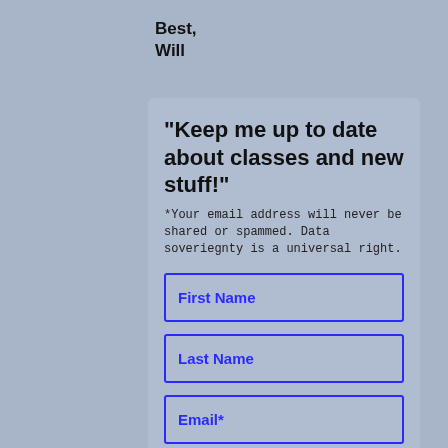Best,
Will
"Keep me up to date about classes and new stuff!"
*Your email address will never be shared or spammed. Data soveriegnty is a universal right.
First Name
Last Name
Email*
[Figure (other): Blue submit button with right-angle bracket arrow symbol]